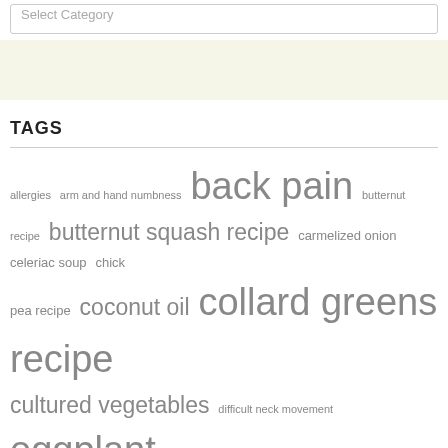Select Category
TAGS
allergies arm and hand numbness back pain butternut recipe butternut squash recipe carmelized onion celeriac soup chick pea recipe coconut oil collard greens recipe cultured vegetables difficult neck movement eggplant recipe foot pain GAPS friendly GAPS friendly recipe gluten-free gluten-free pancakes gluten-free recipe headaches herb tea high fructose corn syrup hip pain immune system support jaw pain knee pain low back pain mid-back migraines neck pain